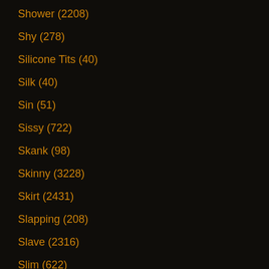Shower (2208)
Shy (278)
Silicone Tits (40)
Silk (40)
Sin (51)
Sissy (722)
Skank (98)
Skinny (3228)
Skirt (2431)
Slapping (208)
Slave (2316)
Slim (622)
Sloppy (589)
Slowly (47)
Slut (7003)
Small Cock (77)